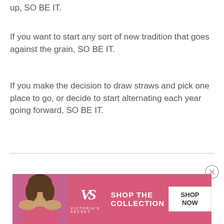up, SO BE IT.
If you want to start any sort of new tradition that goes against the grain, SO BE IT.
If you make the decision to draw straws and pick one place to go, or decide to start alternating each year going forward, SO BE IT.
[Figure (other): Advertisement banner for Victoria's Secret featuring a model photo, Victoria's Secret logo and name, text 'SHOP THE COLLECTION', and a 'SHOP NOW' button.]